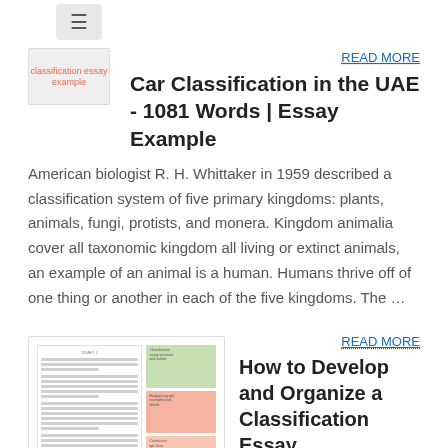[Figure (screenshot): Menu button icon (hamburger)]
[Figure (screenshot): Classification essay example thumbnail image link]
READ MORE
Car Classification in the UAE - 1081 Words | Essay Example
American biologist R. H. Whittaker in 1959 described a classification system of five primary kingdoms: plants, animals, fungi, protists, and monera. Kingdom animalia cover all taxonomic kingdom all living or extinct animals, an example of an animal is a human. Humans thrive off of one thing or another in each of the five kingdoms. The …
[Figure (screenshot): How to develop and organize a classification essay - document thumbnail]
READ MORE
How to Develop and Organize a Classification Essay
7/3/2019 · Classification is a method of developing an essay by arranging people, objects, or ideas with shared characteristics